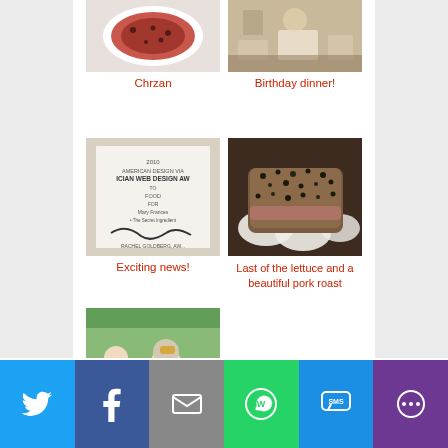[Figure (photo): Photo of a food dish - Chrzan (red sauce/beet dish on white plate)]
Chrzan
[Figure (photo): Photo of a birthday dinner table setting]
Birthday dinner!
[Figure (photo): Photo of a document/award certificate with handwritten signature - American Web Design Award]
Exciting news!
[Figure (photo): Photo of a pork roast coated with herbs/seeds on white plates]
Last of the lettuce and a beautiful pork roast
[Figure (photo): Photo of people outdoors at an event, two men in foreground]
Twitter | Facebook | Email | WhatsApp | SMS | More